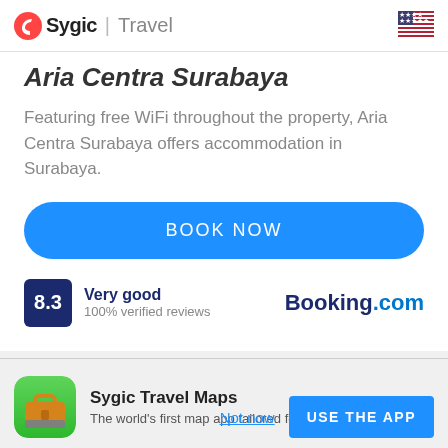Sygic | Travel
Aria Centra Surabaya
Featuring free WiFi throughout the property, Aria Centra Surabaya offers accommodation in Surabaya.
BOOK NOW
8.3 Very good 100% verified reviews Booking.com
Sygic Travel Maps
The world's first map app tailored for travelers
Not now
USE THE APP